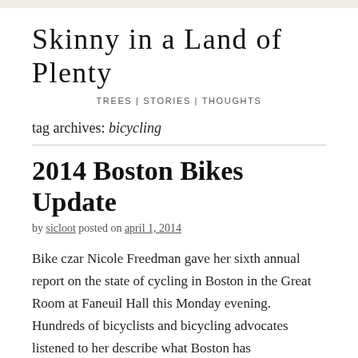Skinny in a Land of Plenty
TREES | STORIES | THOUGHTS
tag archives: bicycling
2014 Boston Bikes Update
by sicloot posted on april 1, 2014
Bike czar Nicole Freedman gave her sixth annual report on the state of cycling in Boston in the Great Room at Faneuil Hall this Monday evening. Hundreds of bicyclists and bicycling advocates listened to her describe what Boston has accomplished and what the city proposes to accomplish in the coming years.